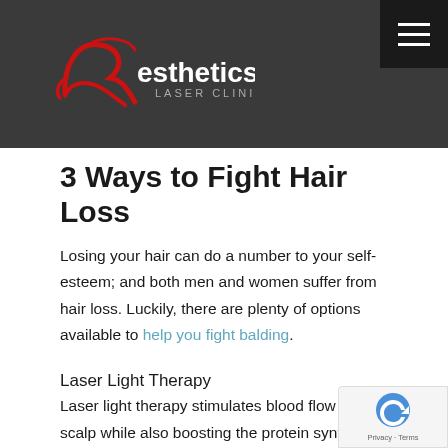[Figure (logo): Resthetics Laser Clinic logo — red stylized R with cursive swash, white text 'esthetics' and 'LASER CLINIC' on dark grey background]
3 Ways to Fight Hair Loss
Losing your hair can do a number to your self-esteem; and both men and women suffer from hair loss. Luckily, there are plenty of options available to help you fight balding.
Laser Light Therapy
Laser light therapy stimulates blood flow to the scalp while also boosting the protein synthesis needed for hair regeneration. Laser therapy is a great choice for men and women who experience increased shedding and want to renew their hair as well as promote additional re-growth percent of people treated by light therapy have